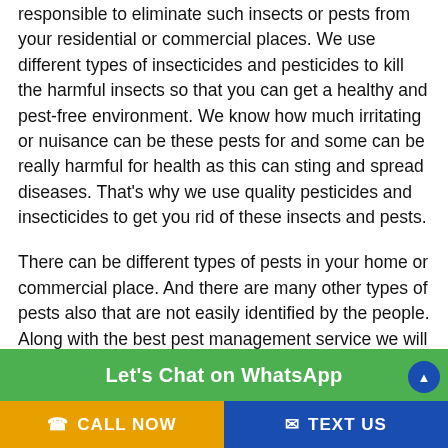responsible to eliminate such insects or pests from your residential or commercial places. We use different types of insecticides and pesticides to kill the harmful insects so that you can get a healthy and pest-free environment. We know how much irritating or nuisance can be these pests for and some can be really harmful for health as this can sting and spread diseases. That's why we use quality pesticides and insecticides to get you rid of these insects and pests.
There can be different types of pests in your home or commercial place. And there are many other types of pests also that are not easily identified by the people. Along with the best pest management service we will also give you useful information and tips on how to use the pesticides and ins... insects or bests. A household pesticide can be purchase...
[Figure (screenshot): Green WhatsApp chat button bar with text 'Let's Chat on WhatsApp']
CALL NOW   TEXT US